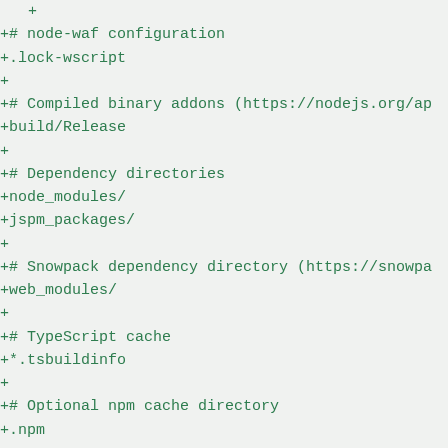+
+# node-waf configuration
+.lock-wscript
+
+# Compiled binary addons (https://nodejs.org/ap
+build/Release
+
+# Dependency directories
+node_modules/
+jspm_packages/
+
+# Snowpack dependency directory (https://snowpa
+web_modules/
+
+# TypeScript cache
+*.tsbuildinfo
+
+# Optional npm cache directory
+.npm
+
+# Optional eslint cache